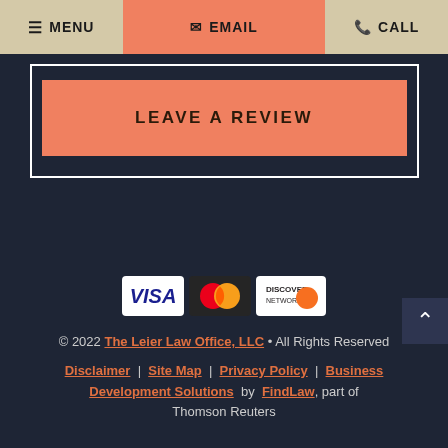MENU | EMAIL | CALL
LEAVE A REVIEW
[Figure (other): Payment card logos: VISA, MasterCard, Discover]
© 2022 The Leier Law Office, LLC • All Rights Reserved
Disclaimer | Site Map | Privacy Policy | Business Development Solutions by FindLaw, part of Thomson Reuters